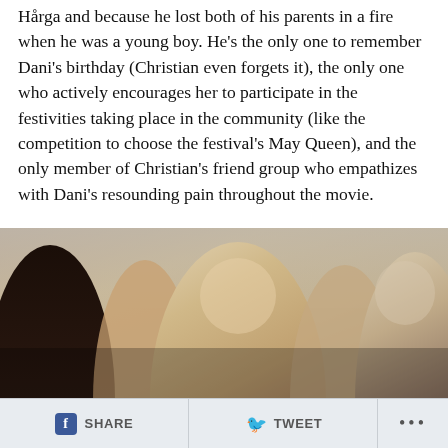Hårga and because he lost both of his parents in a fire when he was a young boy. He's the only one to remember Dani's birthday (Christian even forgets it), the only one who actively encourages her to participate in the festivities taking place in the community (like the competition to choose the festival's May Queen), and the only member of Christian's friend group who empathizes with Dani's resounding pain throughout the movie.
[Figure (photo): Scene from Midsommar showing women crying and comforting each other, dressed in white floral summer clothes]
SHARE   TWEET   ...